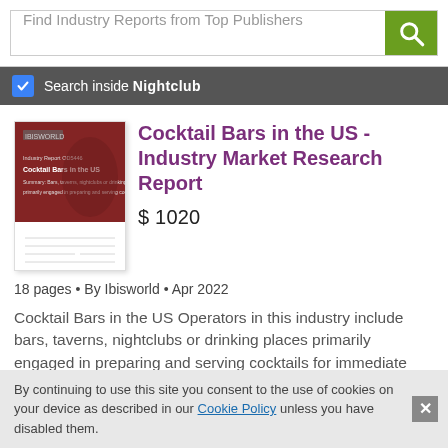[Figure (screenshot): Search bar with placeholder text 'Find Industry Reports from Top Publishers' and a green search button with magnifying glass icon]
Search inside Nightclub
[Figure (illustration): Book cover for 'Cocktail Bars in the US' industry report, dark red/maroon color with IBIS World branding]
Cocktail Bars in the US - Industry Market Research Report
$ 1020
18 pages • By Ibisworld • Apr 2022
Cocktail Bars in the US Operators in this industry include bars, taverns, nightclubs or drinking places primarily engaged in preparing and serving cocktails for immediate
By continuing to use this site you consent to the use of cookies on your device as described in our Cookie Policy unless you have disabled them.